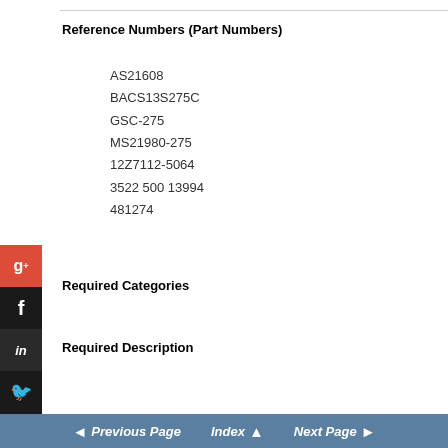Reference Numbers (Part Numbers)
AS21608
BACS13S275C
GSC-275
MS21980-275
12Z7112-5064
3522 500 13994
481274
Required Categories
Required Description
◄ Previous Page  Index ▲  Next Page ►